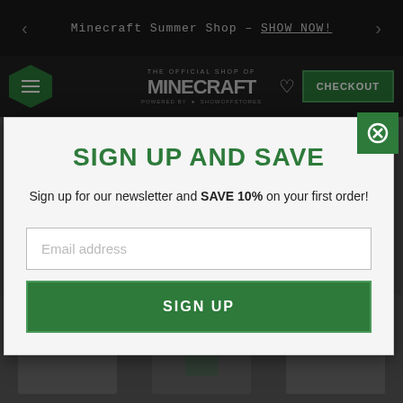Minecraft Summer Shop - SHOW NOW!
[Figure (screenshot): Minecraft official shop navigation bar with hexagon menu icon, Minecraft logo, heart icon, and green CHECKOUT button]
[Figure (screenshot): Blurred background showing Home > Gifts for Minecraft Fans breadcrumb and product images]
SIGN UP AND SAVE
Sign up for our newsletter and SAVE 10% on your first order!
Email address
SIGN UP